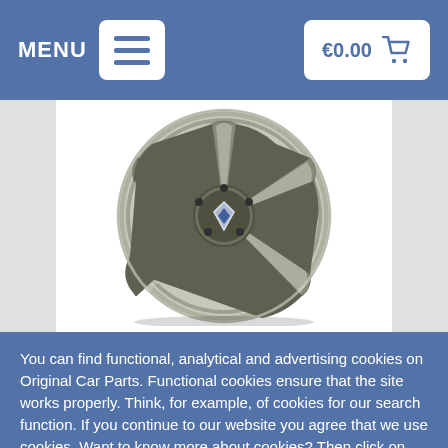MENU  €0.00 (cart)
[Figure (photo): A silver Renault 5-spoke alloy wheel with Renault diamond logo center cap, displayed on white background with grey sidebars.]
You can find functional, analytical and advertising cookies on Original Car Parts. Functional cookies ensure that the site works properly. Think, for example, of cookies for our search function. If you continue to our website you agree that we use cookies. Want to know more about cookies? Then click on more information
✓ Close
More information